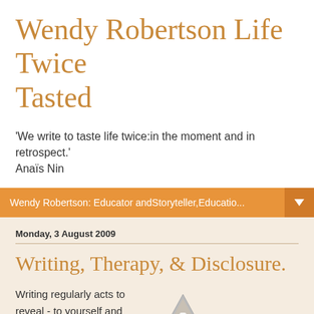Wendy Robertson Life Twice Tasted
'We write to taste life twice:in the moment and in retrospect.' Anaïs Nin
Wendy Robertson: Educator andStoryteller,Educatio...
Monday, 3 August 2009
Writing, Therapy, & Disclosure.
Writing regularly acts to reveal - to yourself and sometimes to the world at large  - your inner thoughts and the wilder shores of your life...
[Figure (illustration): Warning triangle icon (hazard/caution symbol) in grey, partially visible at bottom right]